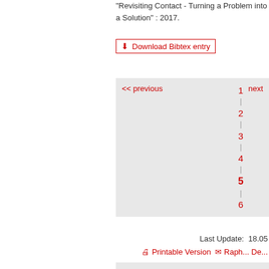"Revisiting Contact - Turning a Problem into a Solution" : 2017.
Download Bibtex entry
<< previous  1 | 2 | 3 | 4 | 5 | 6  next
Last Update:  18.05
Printable Version  Raph... De...
Contact  Impressum  Siten... Deutsch  Inde... Z  Mobil  Datenschl...